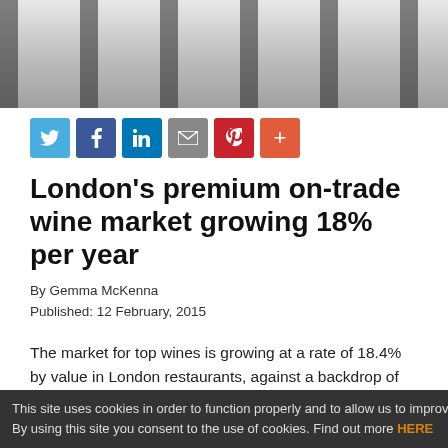[Figure (photo): Interior of a wine cellar or restaurant corridor with dark bottle storage on both sides and light floor]
London's premium on-trade wine market growing 18% per year
By Gemma McKenna
Published:  12 February, 2015
The market for top wines is growing at a rate of 18.4% by value in London restaurants, against a backdrop of declining wine sales in the on-trade overall, down 9.3% by value for the year to July 2014.
This site uses cookies in order to function properly and to allow us to improve our s By using this site you consent to the use of cookies. Find out more HERE